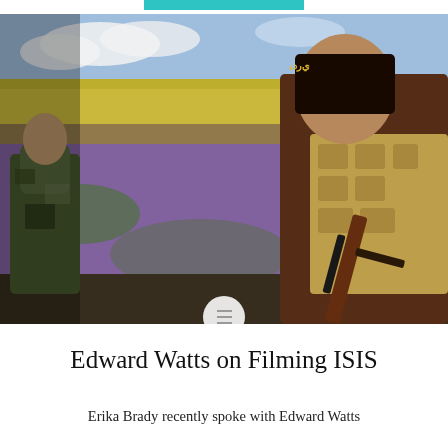[Figure (photo): Two armed soldiers in a field of purple and yellow wildflowers. One soldier in camouflage faces left; another in brown tactical vest and tan body armor faces away on the right, holding a rifle. Background shows yellow rapeseed fields and a blue sky.]
Edward Watts on Filming ISIS
Erika Brady recently spoke with Edward Watts